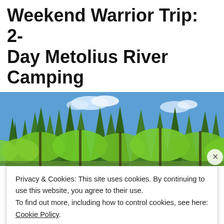Weekend Warrior Trip: 2-Day Metolius River Camping
[Figure (photo): Tall green pine/fir trees against a blue sky with white clouds, forest scene at the Metolius River area]
Privacy & Cookies: This site uses cookies. By continuing to use this website, you agree to their use.
To find out more, including how to control cookies, see here: Cookie Policy
Close and accept